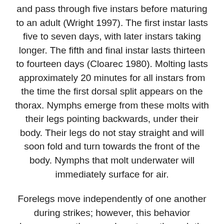and pass through five instars before maturing to an adult (Wright 1997). The first instar lasts five to seven days, with later instars taking longer. The fifth and final instar lasts thirteen to fourteen days (Cloarec 1980). Molting lasts approximately 20 minutes for all instars from the time the first dorsal split appears on the thorax. Nymphs emerge from these molts with their legs pointing backwards, under their body. Their legs do not stay straight and will soon fold and turn towards the front of the body. Nymphs that molt underwater will immediately surface for air.
Forelegs move independently of one another during strikes; however, this behavior decreases as the nymph matures through the instars, becoming more coordinated. After the third instar, there is a significant increase in